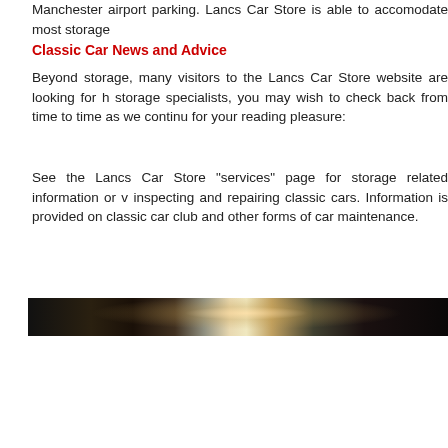Manchester airport parking. Lancs Car Store is able to accomodate most storage
Classic Car News and Advice
Beyond storage, many visitors to the Lancs Car Store website are looking for h storage specialists, you may wish to check back from time to time as we continu for your reading pleasure:
See the Lancs Car Store "services" page for storage related information or v inspecting and repairing classic cars. Information is provided on classic car club and other forms of car maintenance.
[Figure (photo): Dark interior photograph of what appears to be a garage or car storage facility, with a bright light source visible in the center creating a glow effect against dark surroundings.]